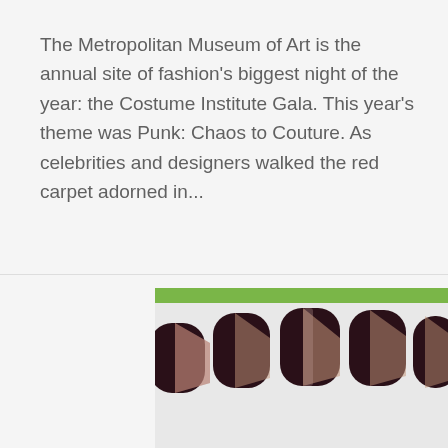The Metropolitan Museum of Art is the annual site of fashion's biggest night of the year: the Costume Institute Gala. This year's theme was Punk: Chaos to Couture. As celebrities and designers walked the red carpet adorned in...
[Figure (photo): Photo of decorative press-on nails displayed on a green and white holder. The nails are dark burgundy/brown with rose gold or copper glitter diagonal stripe accents. Two rows of nails are visible — the top row shows nails with a wide glitter stripe on the right side, and the bottom row shows nails with a glitter stripe down the center.]